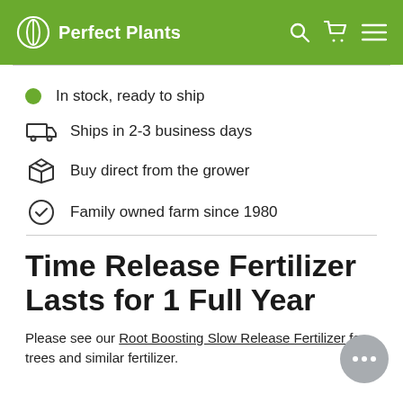Perfect Plants
In stock, ready to ship
Ships in 2-3 business days
Buy direct from the grower
Family owned farm since 1980
Time Release Fertilizer Lasts for 1 Full Year
Please see our Root Boosting Slow Release Fertilizer for trees and similar fertilizer.